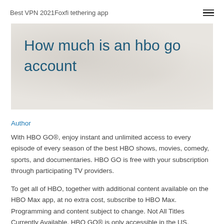Best VPN 2021Foxfi tethering app
How much is an hbo go account
Author
With HBO GO®, enjoy instant and unlimited access to every episode of every season of the best HBO shows, movies, comedy, sports, and documentaries. HBO GO is free with your subscription through participating TV providers.
To get all of HBO, together with additional content available on the HBO Max app, at no extra cost, subscribe to HBO Max. Programming and content subject to change. Not All Titles Currently Available. HBO GO® is only accessible in the US.